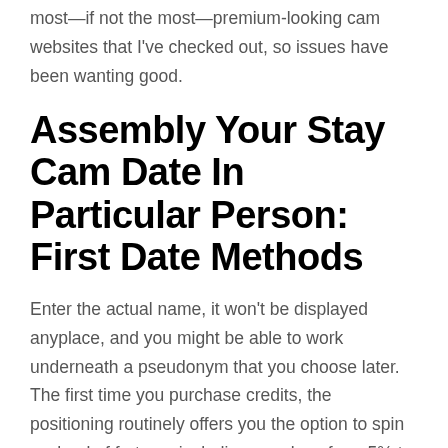most—if not the most—premium-looking cam websites that I've checked out, so issues have been wanting good.
Assembly Your Stay Cam Date In Particular Person: First Date Methods
Enter the actual name, it won't be displayed anyplace, and you might be able to work underneath a pseudonym that you choose later. The first time you purchase credits, the positioning routinely offers you the option to spin a wheel of fortune, including anyplace from 5% to one hundred pc in extra credits. I managed to get 60% more than I paid for